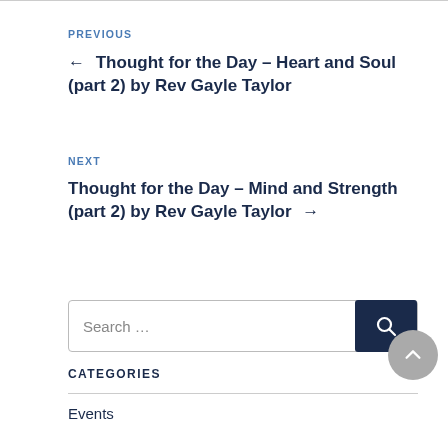PREVIOUS
← Thought for the Day – Heart and Soul (part 2) by Rev Gayle Taylor
NEXT
Thought for the Day – Mind and Strength (part 2) by Rev Gayle Taylor →
Search …
CATEGORIES
Events